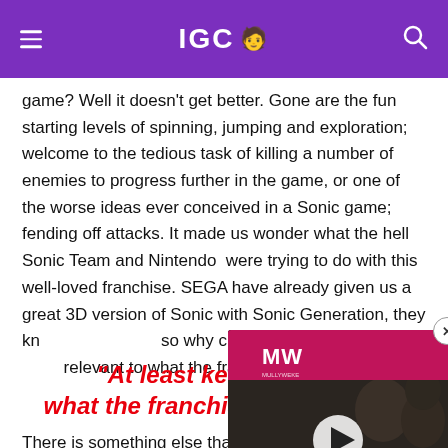IGC 🧑‍💻
game? Well it doesn't get better. Gone are the fun starting levels of spinning, jumping and exploration; welcome to the tedious task of killing a number of enemies to progress further in the game, or one of the worse ideas ever conceived in a Sonic game; fending off attacks. It made us wonder what the hell Sonic Team and Nintendo  were trying to do with this well-loved franchise. SEGA have already given us a great 3D version of Sonic with Sonic Generation, they kn... so why change so much? At le... relevant to what the franchise...
[Figure (screenshot): Advertisement overlay for Xbox Game Pass September 2022, showing the MW (Mullyweke?) logo in pink/red, a play button, soldiers in military gear, text 'XBOX GAME PASS SEPTEMBER 2022'. A close button (X in circle) appears top-right of overlay.]
"At least keep the fo... what the franchise is all about."
There is something else that might wind you up,